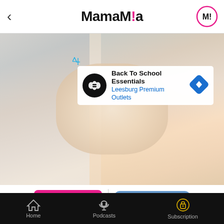MamaMia
[Figure (screenshot): Mamamia app screenshot showing advertisement overlay on photo: Back To School Essentials - Leesburg Premium Outlets, with an intimate couple photo in background]
[Figure (infographic): Share button (pink) and Leave a comment button (blue) with speech bubble tail]
Last month, Sophie Monk and her partner of two years, Joshua Gross, announced their engagement.
Home  Podcasts  Subscription